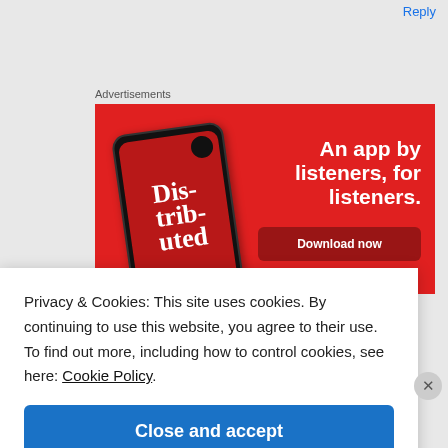Reply
Advertisements
[Figure (illustration): Red advertisement banner for a podcast app called 'Distributed'. Shows a smartphone with the app displayed on screen. Text reads: 'An app by listeners, for listeners.' with a 'Download now' button.]
Privacy & Cookies: This site uses cookies. By continuing to use this website, you agree to their use.
To find out more, including how to control cookies, see here: Cookie Policy
Close and accept